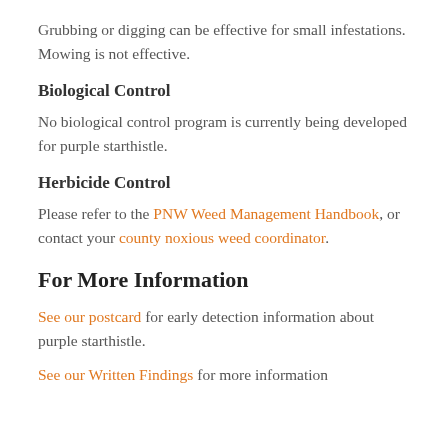Grubbing or digging can be effective for small infestations. Mowing is not effective.
Biological Control
No biological control program is currently being developed for purple starthistle.
Herbicide Control
Please refer to the PNW Weed Management Handbook, or contact your county noxious weed coordinator.
For More Information
See our postcard for early detection information about purple starthistle.
See our Written Findings for more information